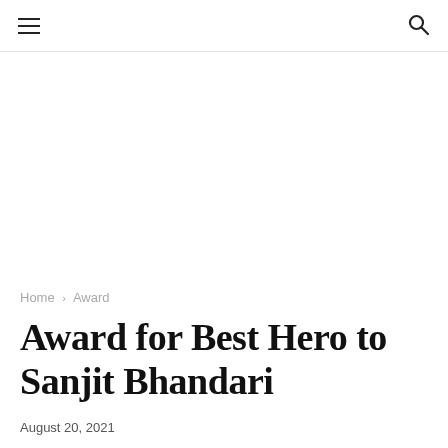☰  🔍
Home › Award
Award for Best Hero to Sanjit Bhandari
August 20, 2021